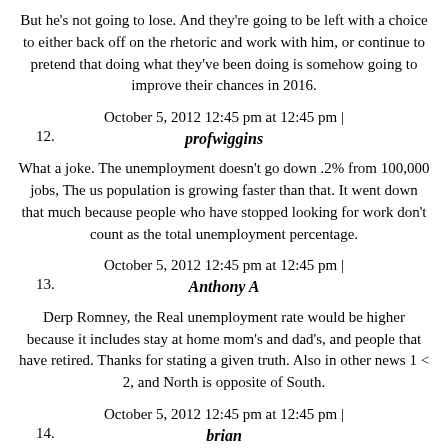But he's not going to lose. And they're going to be left with a choice to either back off on the rhetoric and work with him, or continue to pretend that doing what they've been doing is somehow going to improve their chances in 2016.
October 5, 2012 12:45 pm at 12:45 pm |
12. profwiggins
What a joke. The unemployment doesn't go down .2% from 100,000 jobs, The us population is growing faster than that. It went down that much because people who have stopped looking for work don't count as the total unemployment percentage.
October 5, 2012 12:45 pm at 12:45 pm |
13. Anthony A
Derp Romney, the Real unemployment rate would be higher because it includes stay at home mom's and dad's, and people that have retired. Thanks for stating a given truth. Also in other news 1 < 2, and North is opposite of South.
October 5, 2012 12:45 pm at 12:45 pm |
14. brian
What is unbelievable is these GOP crazies who claim to love